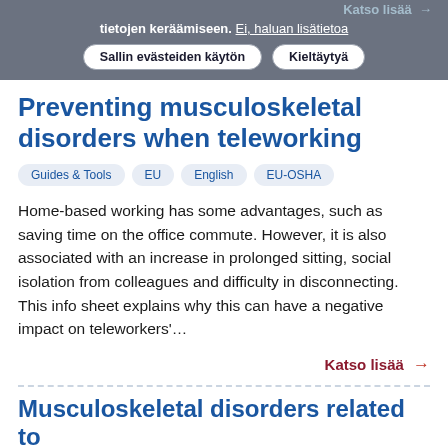Katso lisää →
tietojen keräämiseen. Ei, haluan lisätietoa
Sallin evästeiden käytön   Kieltäytyä
Preventing musculoskeletal disorders when teleworking
Guides & Tools
EU
English
EU-OSHA
Home-based working has some advantages, such as saving time on the office commute. However, it is also associated with an increase in prolonged sitting, social isolation from colleagues and difficulty in disconnecting. This info sheet explains why this can have a negative impact on teleworkers'…
Katso lisää →
Musculoskeletal disorders related to